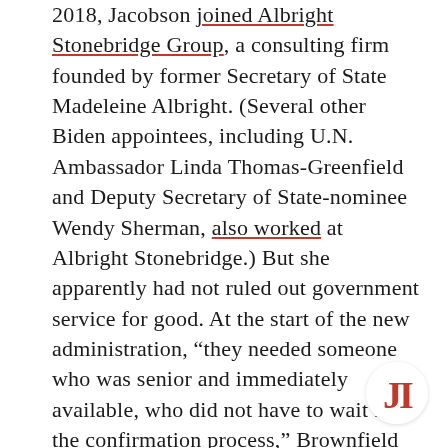2018, Jacobson joined Albright Stonebridge Group, a consulting firm founded by former Secretary of State Madeleine Albright. (Several other Biden appointees, including U.N. Ambassador Linda Thomas-Greenfield and Deputy Secretary of State-nominee Wendy Sherman, also worked at Albright Stonebridge.) But she apparently had not ruled out government service for good. At the start of the new administration, “they needed someone who was senior and immediately available, who did not have to wait for the confirmation process,” Brownfield said, regarding the pick of Jacobson to become the border czar.

Brownfield told JI that he assumed the new administration was aware that a new wave of m… would arrive with Trump’s departure earlier this year.
[Figure (logo): JI logo — red bold letters J and I in a white circle, bottom right corner]